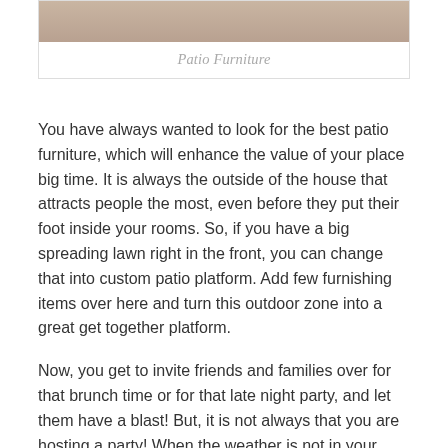[Figure (photo): Partial view of patio furniture scene — cropped top portion of people sitting outdoors]
Patio Furniture
You have always wanted to look for the best patio furniture, which will enhance the value of your place big time. It is always the outside of the house that attracts people the most, even before they put their foot inside your rooms. So, if you have a big spreading lawn right in the front, you can change that into custom patio platform. Add few furnishing items over here and turn this outdoor zone into a great get together platform.
Now, you get to invite friends and families over for that brunch time or for that late night party, and let them have a blast! But, it is not always that you are hosting a party! When the weather is not in your favor and you don't want to stay outside your home, then you need the help of patio furniture covers for sure. The main goal of these covers is to protect the patio furniture from harsh weather conditions and to maintain its new and refreshed look for a long time.